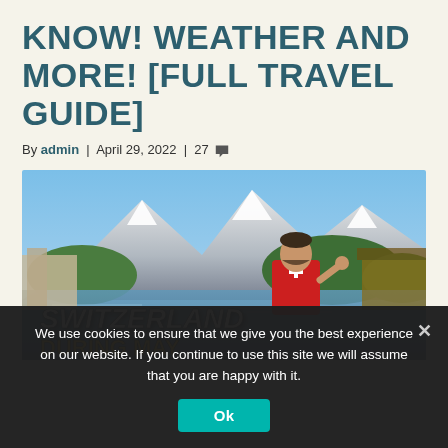KNOW! WEATHER AND MORE! [FULL TRAVEL GUIDE]
By admin | April 29, 2022 | 27 [comments]
[Figure (photo): Photo of a man in a red Swiss t-shirt with white cross giving a thumbs up, standing in front of a lake with snow-capped mountains in the background. Text overlay reads 'SWITZERLAND DURING MAY']
We use cookies to ensure that we give you the best experience on our website. If you continue to use this site we will assume that you are happy with it.